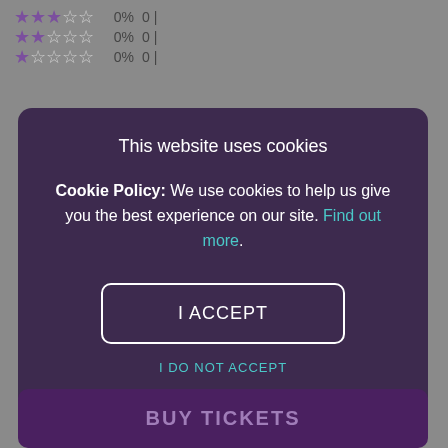[Figure (screenshot): Star rating rows showing 3-star, 2-star, and 1-star ratings all at 0%, 0 reviews each, partially visible at top of page]
This website uses cookies
Cookie Policy: We use cookies to help us give you the best experience on our site. Find out more.
I ACCEPT
I DO NOT ACCEPT
BUY TICKETS